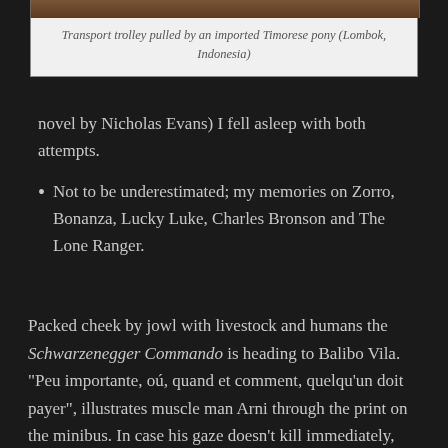[Figure (photo): Bottom portion of a photo showing a transport trolley pulled by an imported Timorese pony in Lombok, Indonesia]
Transport trolley pulled by an imported Timorese pony (Lombok, Indonesia)
novel by Nicholas Evans) I fell asleep with both attempts.
Not to be underestimated; my memories on Zorro, Bonanza, Lucky Luke, Charles Bronson and The Lone Ranger.
Packed cheek by jowl with livestock and humans the Schwarzenegger Commando is heading to Balibo Vila. “Peu importante, oú, quand et comment, quelqu’un doit payer”, illustrates muscle man Arni through the print on the minibus. In case his gaze doesn’t kill immediately, grenades and combat knives would help out. As for our case, we passengers pay with the fear of landing in the